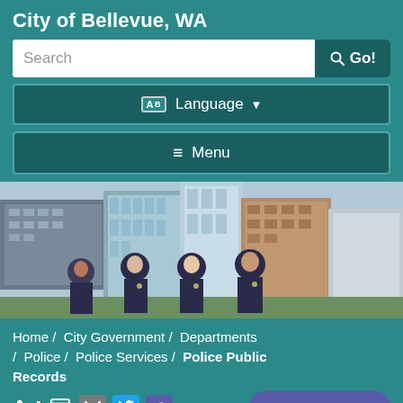City of Bellevue, WA
[Figure (screenshot): Search bar with text 'Search' and a dark teal 'Go!' button with magnifying glass icon]
[Figure (screenshot): Language selector button with AB icon and dropdown arrow]
[Figure (screenshot): Menu button with hamburger icon]
[Figure (photo): Photo of four police officers in dark uniforms standing in front of city buildings]
Home /  City Government /  Departments /  Police /  Police Services /  Police Public Records
MyBellevue Chatbot
A A [print] [email] [twitter] [facebook]